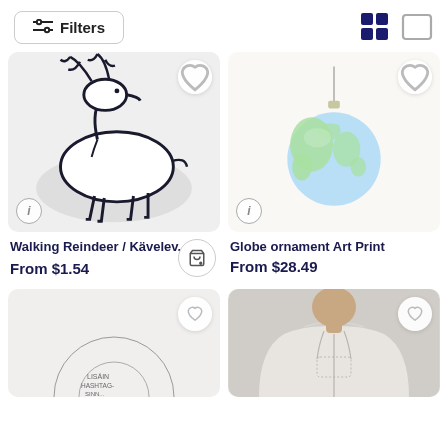Filters
[Figure (illustration): Walking Reindeer sticker illustration - outline drawing of a reindeer/moose walking, with white background and shadow border]
Walking Reindeer / Kävelev...
From $1.54
[Figure (illustration): Globe ornament art print - decorative Christmas ornament with Earth globe design hanging from a string]
Globe ornament Art Print
From $28.49
[Figure (illustration): Partial view of a product card at the bottom left - partially visible circular illustration]
[Figure (photo): Person wearing a light gray zip-up hoodie sweatshirt]